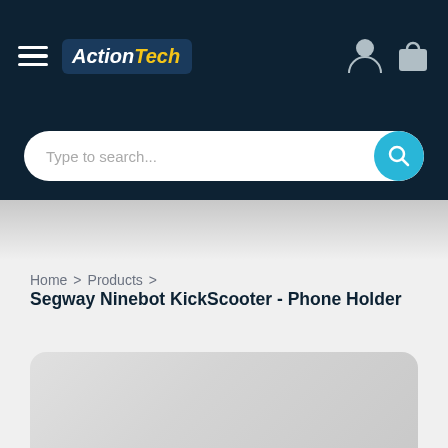[Figure (logo): ActionTech logo with hamburger menu on dark navy header bar]
[Figure (screenshot): Search bar with placeholder text 'Type to search...' and cyan search button]
Home > Products > Segway Ninebot KickScooter - Phone Holder
[Figure (photo): Product image placeholder area - light grey rounded rectangle card]